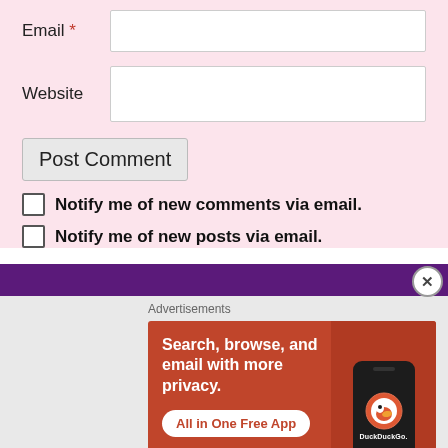Email *
Website
Post Comment
Notify me of new comments via email.
Notify me of new posts via email.
Advertisements
[Figure (screenshot): DuckDuckGo advertisement banner: orange background with text 'Search, browse, and email with more privacy. All in One Free App' alongside a phone mockup showing DuckDuckGo logo]